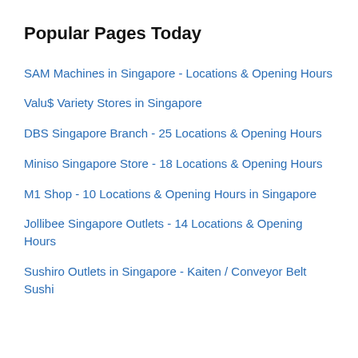Popular Pages Today
SAM Machines in Singapore - Locations & Opening Hours
Valu$ Variety Stores in Singapore
DBS Singapore Branch - 25 Locations & Opening Hours
Miniso Singapore Store - 18 Locations & Opening Hours
M1 Shop - 10 Locations & Opening Hours in Singapore
Jollibee Singapore Outlets - 14 Locations & Opening Hours
Sushiro Outlets in Singapore - Kaiten / Conveyor Belt Sushi